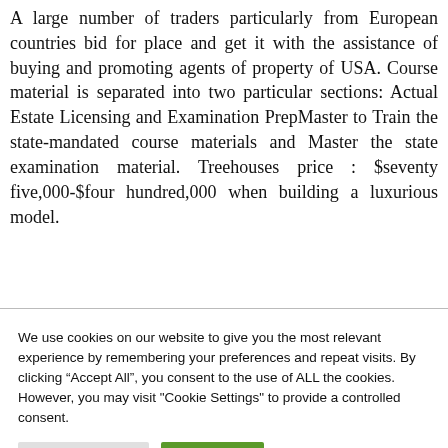A large number of traders particularly from European countries bid for place and get it with the assistance of buying and promoting agents of property of USA. Course material is separated into two particular sections: Actual Estate Licensing and Examination PrepMaster to Train the state-mandated course materials and Master the state examination material. Treehouses price : $seventy five,000-$four hundred,000 when building a luxurious model.
We use cookies on our website to give you the most relevant experience by remembering your preferences and repeat visits. By clicking “Accept All”, you consent to the use of ALL the cookies. However, you may visit "Cookie Settings" to provide a controlled consent.
Cookie Settings | Accept All